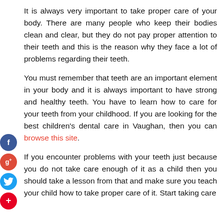It is always very important to take proper care of your body. There are many people who keep their bodies clean and clear, but they do not pay proper attention to their teeth and this is the reason why they face a lot of problems regarding their teeth.
You must remember that teeth are an important element in your body and it is always important to have strong and healthy teeth. You have to learn how to care for your teeth from your childhood. If you are looking for the best children's dental care in Vaughan, then you can browse this site.
If you encounter problems with your teeth just because you do not take care enough of it as a child then you should take a lesson from that and make sure you teach your child how to take proper care of it. Start taking care
[Figure (infographic): Social media share buttons: Facebook (blue circle with f), Google+ (red circle with g+), Twitter (blue circle with bird icon), Pinterest (red circle with + icon)]